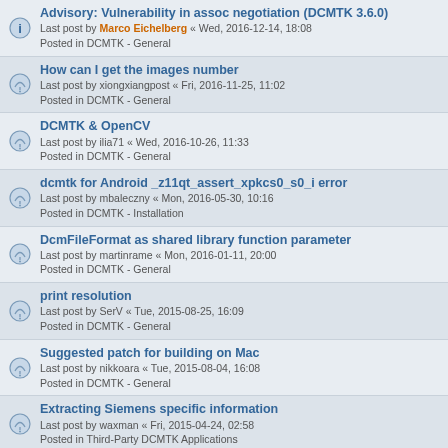Advisory: Vulnerability in assoc negotiation (DCMTK 3.6.0)
Last post by Marco Eichelberg « Wed, 2016-12-14, 18:08
Posted in DCMTK - General
How can I get the images number
Last post by xiongxiangpost « Fri, 2016-11-25, 11:02
Posted in DCMTK - General
DCMTK & OpenCV
Last post by ilia71 « Wed, 2016-10-26, 11:33
Posted in DCMTK - General
dcmtk for Android _z11qt_assert_xpkcs0_s0_i error
Last post by mbaleczny « Mon, 2016-05-30, 10:16
Posted in DCMTK - Installation
DcmFileFormat as shared library function parameter
Last post by martinrame « Mon, 2016-01-11, 20:00
Posted in DCMTK - General
print resolution
Last post by SerV « Tue, 2015-08-25, 16:09
Posted in DCMTK - General
Suggested patch for building on Mac
Last post by nikkoara « Tue, 2015-08-04, 16:08
Posted in DCMTK - General
Extracting Siemens specific information
Last post by waxman « Fri, 2015-04-24, 02:58
Posted in Third-Party DCMTK Applications
FrameTimeVector contains negative values
Last post by nikkoara « Mon, 2015-03-30, 15:21
Posted in DCMTK - General
Search found 307 matches